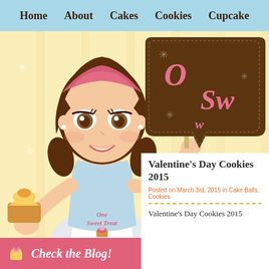Home  About  Cakes  Cookies  Cupcake
[Figure (illustration): Cartoon baker woman with brown hair and pink headband, holding a cupcake in one hand and a spoon in the other, wearing a white apron with 'One Sweet Treat' logo, standing against a yellow striped background]
[Figure (logo): Brown speech bubble shaped logo with 'One Sweet Treat' text in pink cursive lettering with decorative snowflake/asterisk elements]
Valentine's Day Cookies 2015
Posted on March 3rd, 2015 in Cake Balls, Cookies
Valentine's Day Cookies 2015
Check the Blog!